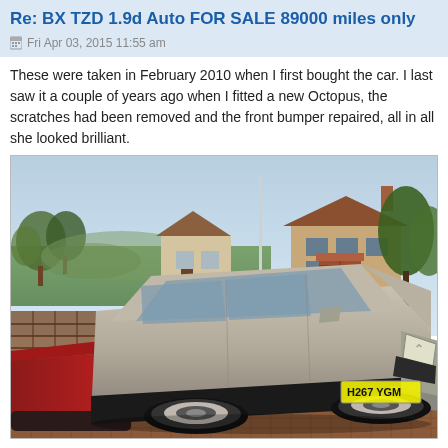Re: BX TZD 1.9d Auto FOR SALE 89000 miles only
Fri Apr 03, 2015 11:55 am
These were taken in February 2010 when I first bought the car. I last saw it a couple of years ago when I fitted a new Octopus, the scratches had been removed and the front bumper repaired, all in all she looked brilliant.
[Figure (photo): A silver Citroën BX hatchback parked on a brick driveway next to a red car, with a suburban house, wooden fence, brick pillar, and trees visible in the background. The car's registration plate reads H267 YGM.]